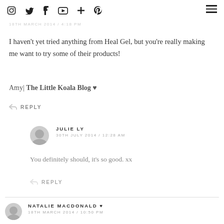social media icons and hamburger menu
18TH MARCH 2014 / 4:18 PM
I haven't yet tried anything from Heal Gel, but you're really making me want to try some of their products!
Amy| The Little Koala Blog ♥
REPLY
JULIE LY
30TH JULY 2014 / 12:28 AM
You definitely should, it's so good. xx
REPLY
NATALIE MACDONALD ♥
18TH MARCH 2014 / 10:50 PM